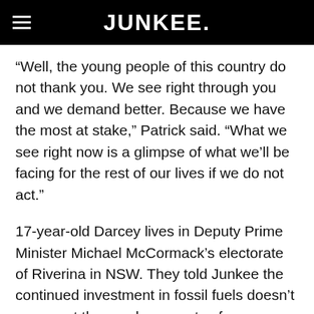JUNKEE.
“Well, the young people of this country do not thank you. We see right through you and we demand better. Because we have the most at stake,” Patrick said. “What we see right now is a glimpse of what we’ll be facing for the rest of our lives if we do not act.”
17-year-old Darcey lives in Deputy Prime Minister Michael McCormack’s electorate of Riverina in NSW. They told Junkee the continued investment in fossil fuels doesn’t represent the needs or wants of McCormack’s constituents.
“Climate change matters out here. As a farming community, my friends and family see firsthand the